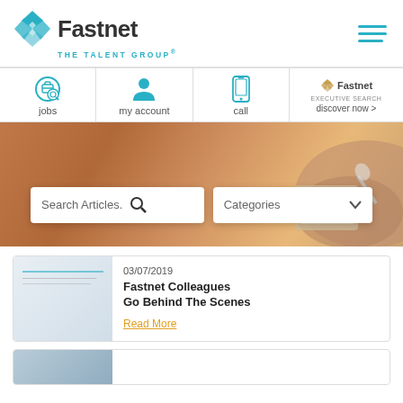[Figure (logo): Fastnet The Talent Group logo with teal diamond icon]
[Figure (infographic): Navigation bar with jobs, my account, call, discover now icons]
[Figure (photo): Hero banner with hands on tablet, search articles box and categories dropdown]
03/07/2019
Fastnet Colleagues Go Behind The Scenes
Read More
[Figure (photo): Second article thumbnail (partially visible)]